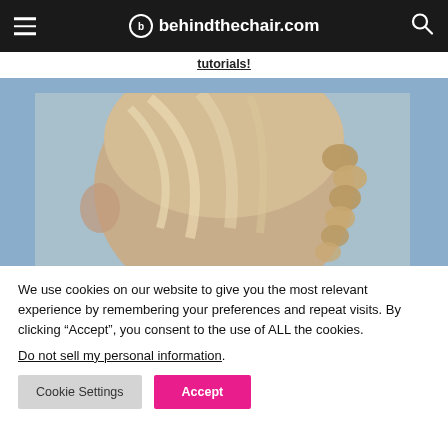behindthechair.com
tutorials!
[Figure (photo): Close-up back view of a person with blonde hair styled in a braid/updo, light blue background]
We use cookies on our website to give you the most relevant experience by remembering your preferences and repeat visits. By clicking “Accept”, you consent to the use of ALL the cookies. Do not sell my personal information.
Cookie Settings
Accept